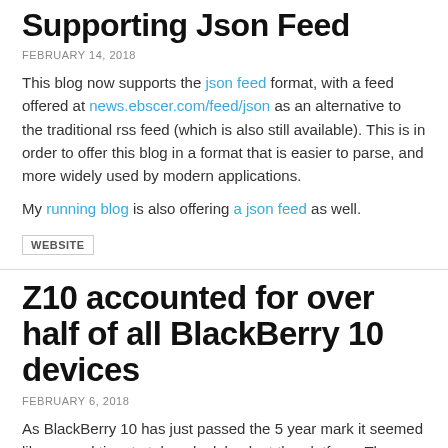Supporting Json Feed
FEBRUARY 14, 2018
This blog now supports the json feed format, with a feed offered at news.ebscer.com/feed/json as an alternative to the traditional rss feed (which is also still available). This is in order to offer this blog in a format that is easier to parse, and more widely used by modern applications.
My running blog is also offering a json feed as well.
WEBSITE
Z10 accounted for over half of all BlackBerry 10 devices
FEBRUARY 6, 2018
As BlackBerry 10 has just passed the 5 year mark it seemed like a good time to take a look back at the platform. The very